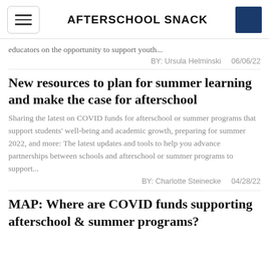AFTERSCHOOL SNACK
educators on the opportunity to support youth...
BY: Ursula Helminski    06/06/22
New resources to plan for summer learning and make the case for afterschool
Sharing the latest on COVID funds for afterschool or summer programs that support students' well-being and academic growth, preparing for summer 2022, and more: The latest updates and tools to help you advance partnerships between schools and afterschool or summer programs to support...
BY: Charlotte Steinecke    04/28/22
MAP: Where are COVID funds supporting afterschool & summer programs?